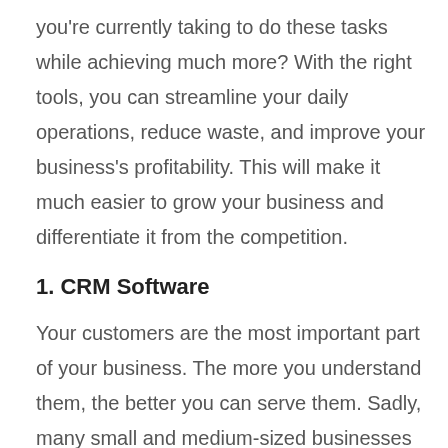you're currently taking to do these tasks while achieving much more? With the right tools, you can streamline your daily operations, reduce waste, and improve your business's profitability. This will make it much easier to grow your business and differentiate it from the competition.
1. CRM Software
Your customers are the most important part of your business. The more you understand them, the better you can serve them. Sadly, many small and medium-sized businesses store customer data on spreadsheets, from their contact details to their requests. While this strategy might work when starting an online business, it can be a lot